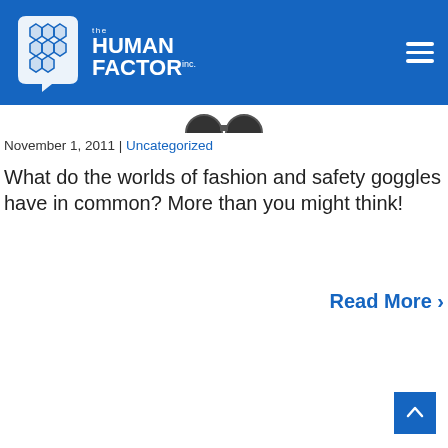[Figure (logo): The Human Factor Inc. logo with brain graphic on blue header bar]
November 1, 2011 | Uncategorized
What do the worlds of fashion and safety goggles have in common? More than you might think!
Read More ›